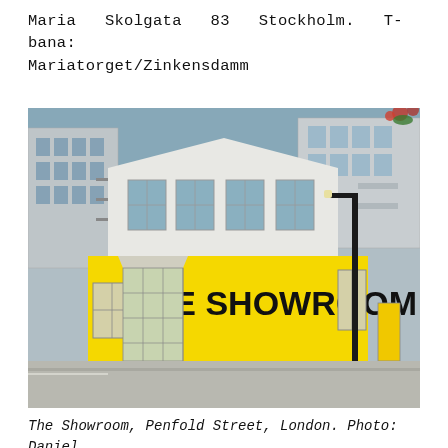Maria   Skolgata   83   Stockholm.   T-bana: Mariatorget/Zinkensdamm
[Figure (photo): Exterior photo of The Showroom gallery on Penfold Street, London. A white industrial building with a bright yellow lower facade and large black lettering reading 'THE SHOWROOM'. Multi-storey residential buildings are visible behind it, and a black street lamp stands in front.]
The Showroom, Penfold Street, London. Photo: Daniel Brooke